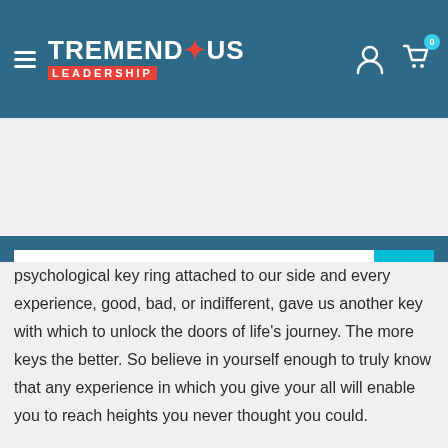[Figure (logo): Tremendous Leadership logo with hamburger menu, user and cart icons in teal header]
[Figure (screenshot): Search bar with placeholder text 'Search...' and teal search button]
psychological key ring attached to our side and every experience, good, bad, or indifferent, gave us another key with which to unlock the doors of life's journey. The more keys the better. So believe in yourself enough to truly know that any experience in which you give your all will enable you to reach heights you never thought you could.
Tags: Action, Books, Career, Confidence, Fear, Job, Knowledge, Mot...
Share